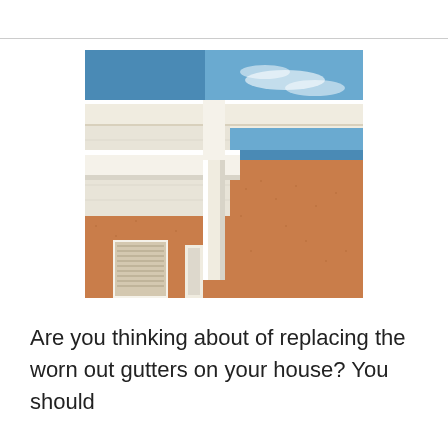[Figure (photo): Close-up photograph of white rain gutters on the corner of a house with orange/terracotta stucco walls and a blue sky with light clouds in the background. The white gutter system shows the fascia, soffit, and downspout corner junction.]
Are you thinking about of replacing the worn out gutters on your house? You should